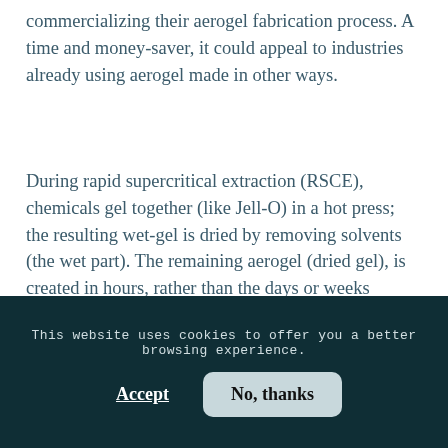commercializing their aerogel fabrication process. A time and money-saver, it could appeal to industries already using aerogel made in other ways.
During rapid supercritical extraction (RSCE), chemicals gel together (like Jell-O) in a hot press; the resulting wet-gel is dried by removing solvents (the wet part). The remaining aerogel (dried gel), is created in hours, rather than the days or weeks alternative methods take.
RSCE, Anderson said, is also approximately seven times cheaper, requiring one hour of labor for
This website uses cookies to offer you a better browsing experience.
Accept
No, thanks